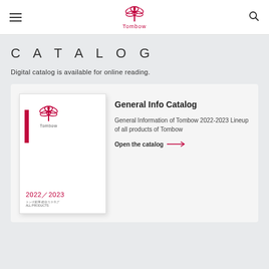Tombow [logo and navigation header]
CATALOG
Digital catalog is available for online reading.
[Figure (illustration): Tombow 2022/2023 General Info Catalog cover mockup showing the Tombow dragonfly logo with a red vertical bar accent and red year text 2022/2023 at the bottom]
General Info Catalog
General Information of Tombow 2022-2023 Lineup of all products of Tombow
Open the catalog →